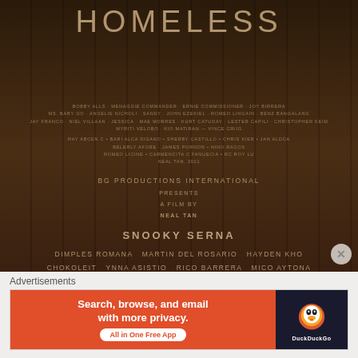[Figure (photo): Movie poster for 'Homeless' on a dark brown cardboard/kraft paper textured background. Title 'HOMELESS' in light gray uppercase letters at the top. Credits listed including cast and production details. Features BG Productions International, directed by Neal Tan, starring Snooky Serna, Dimples Romana, Martin Del Rosario, Hayden Kho, Chokoleit, Ynna Asistio, Rico Barrera, Mico Aytona, and Ejay Falcon.]
Advertisements
[Figure (infographic): DuckDuckGo advertisement banner. Orange left panel: 'Search, browse, and email with more privacy. All in One Free App'. Dark right panel with DuckDuckGo duck logo and 'DuckDuckGo' text.]